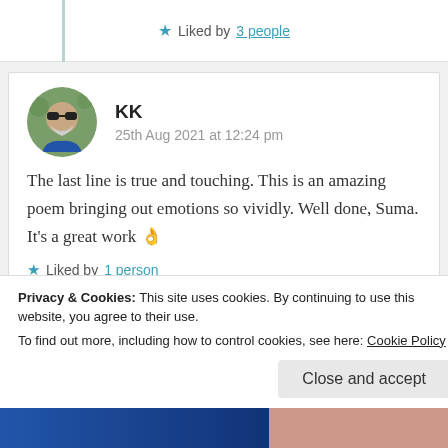★ Liked by 3 people
[Figure (photo): Round avatar photo of a man with sunglasses and grey beard]
KK
25th Aug 2021 at 12:24 pm
The last line is true and touching. This is an amazing poem bringing out emotions so vividly. Well done, Suma. It's a great work 👌
★ Liked by 1 person
Privacy & Cookies: This site uses cookies. By continuing to use this website, you agree to their use.
To find out more, including how to control cookies, see here: Cookie Policy
Close and accept